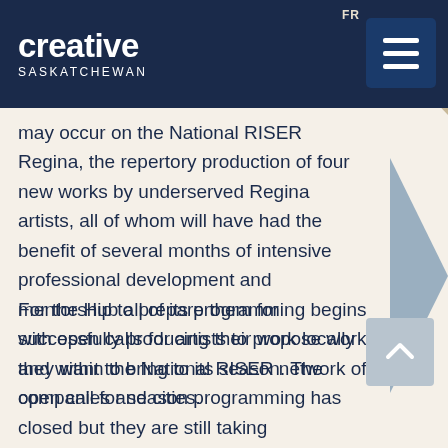creative SASKATCHEWAN
may occur on the National RISER Regina, the repertory production of four new works by underserved Regina artists, all of whom will have had the benefit of several months of intensive professional development and mentorship to prepare them for successfully producing their work locally and within the National RISER network of companies and cities.
For the Hub all of its programming begins with open calls for artists to propose work they want to bring to its season. The open call for season programming has closed but they are still taking applications from artists